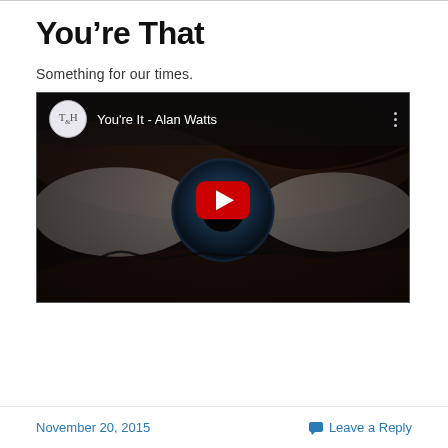You're That
Something for our times.
[Figure (screenshot): YouTube video embed showing a close-up of a blue human eye with a YouTube play button overlay. The video title shown is 'You're It - Alan Watts' with a T&H channel avatar in the top-left corner.]
November 20, 2015   Leave a Reply